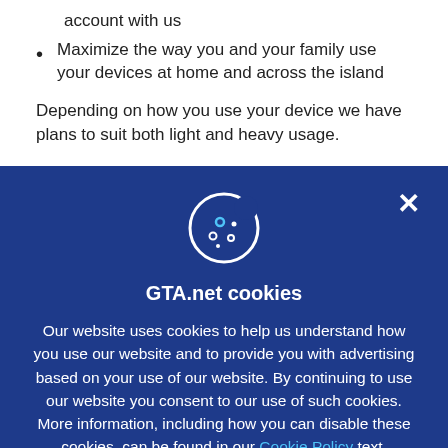account with us
Maximize the way you and your family use your devices at home and across the island
Depending on how you use your device we have plans to suit both light and heavy usage.
[Figure (illustration): Cookie icon — a circle with a bite taken out, containing small dots, rendered in white outline on dark blue background]
GTA.net cookies
Our website uses cookies to help us understand how you use our website and to provide you with advertising based on your use of our website. By continuing to use our website you consent to our use of such cookies. More information, including how you can disable these cookies, can be found in our Cookie Policy text.